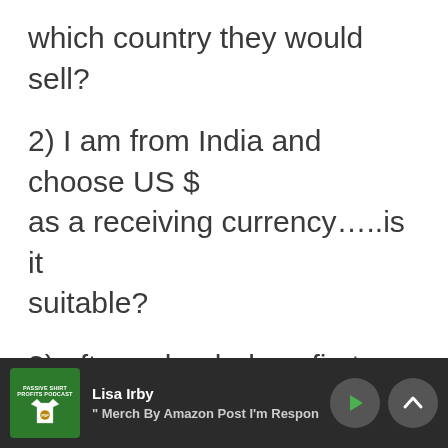which country they would sell?
2) I am from India and choose US $ as a receiving currency…..is it suitable?
3) after uploaded my first Design on some products...around two months later I noticed reviews by visitors(may be buyers, don't no) on
[Figure (screenshot): Podcast media player bar at the bottom showing 'Passive Shirt Profits Podcast' thumbnail, 'Lisa Irby' as author, '" Merch By Amazon Post I'm Respon' as title, with play and chevron-up buttons on dark background]